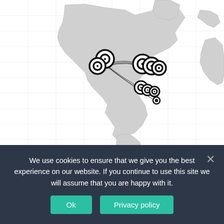[Figure (map): World map with network connection nodes clustered over North America, with lines connecting nodes in western USA to nodes in central USA and Caribbean/Gulf region. Map is light gray on white background with grid lines.]
We use cookies to ensure that we give you the best experience on our website. If you continue to use this site we will assume that you are happy with it.
Ok
Privacy policy